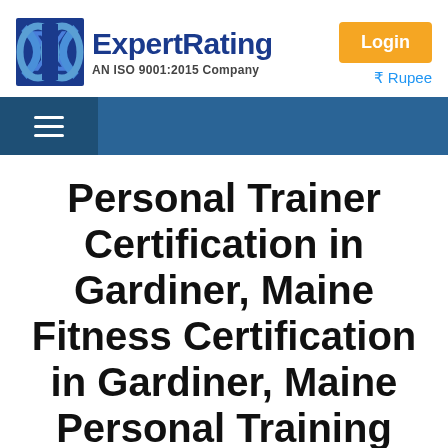[Figure (logo): ExpertRating logo with blue X/E icon and text 'ExpertRating' with tagline 'AN ISO 9001:2015 Company']
Login
₹ Rupee
[Figure (other): Blue navigation bar with hamburger menu icon on left]
Personal Trainer Certification in Gardiner, Maine Fitness Certification in Gardiner, Maine Personal Training